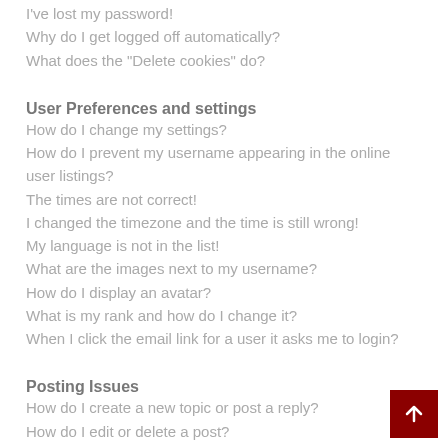I've lost my password!
Why do I get logged off automatically?
What does the "Delete cookies" do?
User Preferences and settings
How do I change my settings?
How do I prevent my username appearing in the online user listings?
The times are not correct!
I changed the timezone and the time is still wrong!
My language is not in the list!
What are the images next to my username?
How do I display an avatar?
What is my rank and how do I change it?
When I click the email link for a user it asks me to login?
Posting Issues
How do I create a new topic or post a reply?
How do I edit or delete a post?
How do I add a signature to my post?
How do I create a poll?
Why can't I add more poll options?
How do I edit or delete a poll?